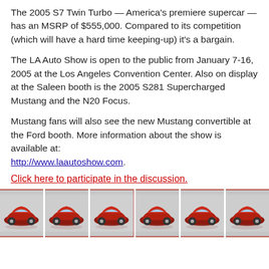The 2005 S7 Twin Turbo — America's premiere supercar — has an MSRP of $555,000. Compared to its competition (which will have a hard time keeping-up) it's a bargain.
The LA Auto Show is open to the public from January 7-16, 2005 at the Los Angeles Convention Center. Also on display at the Saleen booth is the 2005 S281 Supercharged Mustang and the N20 Focus.
Mustang fans will also see the new Mustang convertible at the Ford booth. More information about the show is available at: http://www.laautoshow.com.
Click here to participate in the discussion.
[Figure (photo): Six thumbnail photos of a red supercar (Saleen S7 Twin Turbo) from different angles, displayed in a horizontal row at the bottom of the page.]